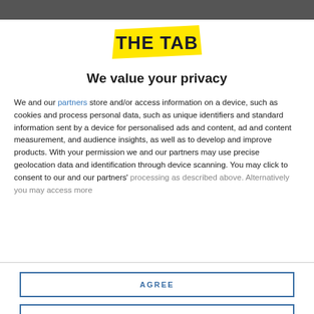[Figure (screenshot): Dark blurred image strip at top of page]
[Figure (logo): The Tab logo - yellow banner with dark bold text 'THE TAB']
We value your privacy
We and our partners store and/or access information on a device, such as cookies and process personal data, such as unique identifiers and standard information sent by a device for personalised ads and content, ad and content measurement, and audience insights, as well as to develop and improve products. With your permission we and our partners may use precise geolocation data and identification through device scanning. You may click to consent to our and our partners' processing as described above. Alternatively you may access more
AGREE
MORE OPTIONS